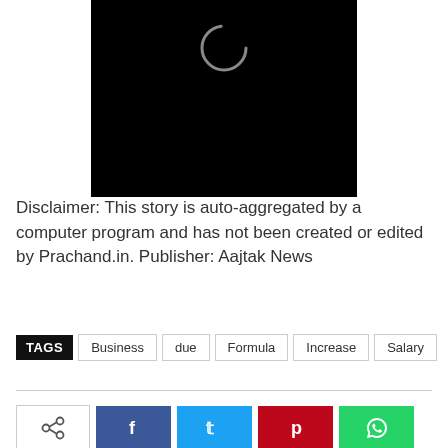[Figure (screenshot): Black video player placeholder with a circular loading spinner in the upper center area]
Disclaimer: This story is auto-aggregated by a computer program and has not been created or edited by Prachand.in. Publisher: Aajtak News
TAGS  Business  due  Formula  Increase  Salary
[Figure (infographic): Social share buttons row: share icon box, Facebook, Twitter, Pinterest, WhatsApp]